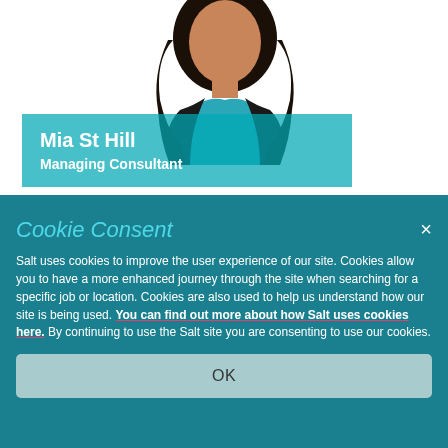[Figure (photo): Headshot of Mia St Hill, a woman with long dark wavy hair wearing a black blazer over a teal top, photographed against a white background.]
Mia St Hill
Managing Consultant
Cookie Consent
Salt uses cookies to improve the user experience of our site. Cookies allow you to have a more enhanced journey through the site when searching for a specific job or location. Cookies are also used to help us understand how our site is being used. You can find out more about how Salt uses cookies here. By continuing to use the Salt site you are consenting to use our cookies.
OK